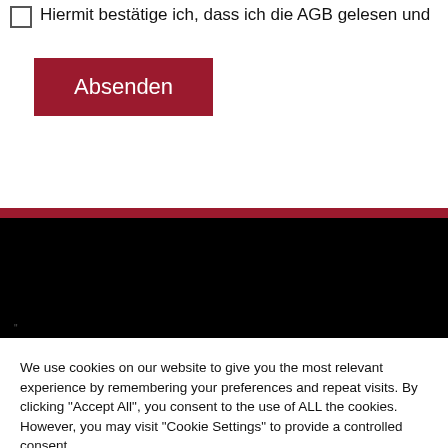Hiermit bestätige ich, dass ich die AGB gelesen und
Absenden
[Figure (screenshot): Dark website footer area with a red stripe at the top and a black band below it, with faint small punctuation marks visible at the bottom left of the black area.]
We use cookies on our website to give you the most relevant experience by remembering your preferences and repeat visits. By clicking "Accept All", you consent to the use of ALL the cookies. However, you may visit "Cookie Settings" to provide a controlled consent.
Cookie Settings
Accept All